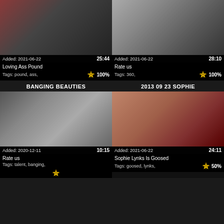[Figure (photo): Video thumbnail top-left: woman lying down]
Added: 2021-06-22   25:44
Loving Ass Pound
Tags: pound, ass,   100%
[Figure (photo): Video thumbnail top-right: woman in white]
Added: 2021-06-22   28:10
Rate us
Tags: 360,   100%
BANGING BEAUTIES
2013 09 23 SOPHIE
[Figure (photo): Video thumbnail bottom-left: woman with people]
Added: 2020-12-11   10:15
Rate us
Tags: talent, banging,
[Figure (photo): Video thumbnail bottom-right: close-up]
Added: 2021-06-22   24:11
Sophie Lynks Is Goosed
Tags: goosed, lynks,   50%